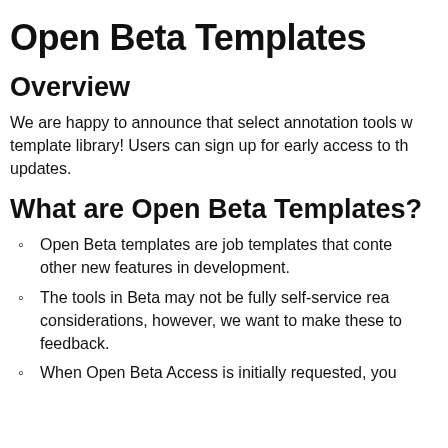Open Beta Templates
Overview
We are happy to announce that select annotation tools w... template library! Users can sign up for early access to th... updates.
What are Open Beta Templates?
Open Beta templates are job templates that conte... other new features in development.
The tools in Beta may not be fully self-service rea... considerations, however, we want to make these to... feedback.
When Open Beta Access is initially requested, you...